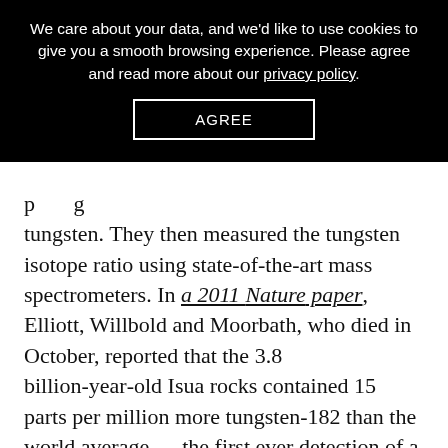We care about your data, and we'd like to use cookies to give you a smooth browsing experience. Please agree and read more about our privacy policy.
AGREE
tungsten. They then measured the tungsten isotope ratio using state-of-the-art mass spectrometers. In a 2011 Nature paper, Elliott, Willbold and Moorbath, who died in October, reported that the 3.8 billion-year-old Isua rocks contained 15 parts per million more tungsten-182 than the world average — the first ever detection of a “positive” tungsten anomaly on the face of the Earth.
They now named Richard Walker of Maryland, who